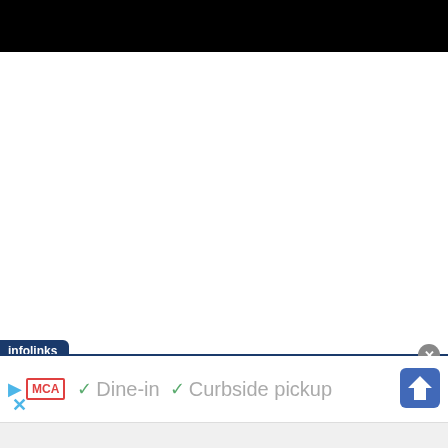[Figure (screenshot): Black header bar at top of page]
[Figure (screenshot): Infolinks advertisement bar with MCA badge, Dine-in and Curbside pickup checkmarks, navigation icon, and close button]